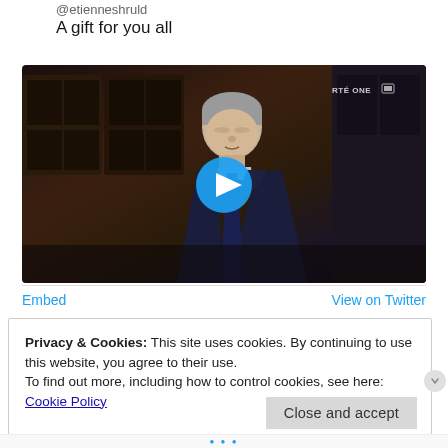@etienneshruld
A gift for you all
[Figure (screenshot): Embedded Twitter video player showing a man in a dark suit on RTÉ ONE television show, with a circular blue play button overlay in the center]
Embed
View on Twitter
Privacy & Cookies: This site uses cookies. By continuing to use this website, you agree to their use.
To find out more, including how to control cookies, see here: Cookie Policy
Close and accept